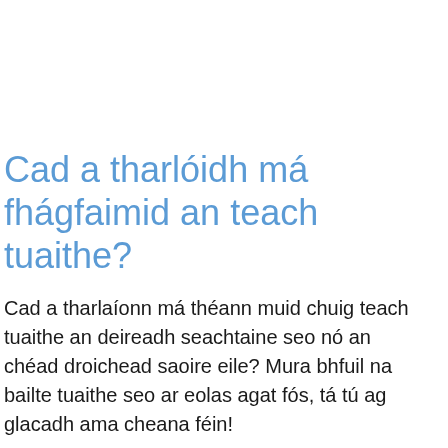Cad a tharlóidh má fhágfaimid an teach tuaithe?
Cad a tharlaíonn má théann muid chuig teach tuaithe an deireadh seachtaine seo nó an chéad droichead saoire eile? Mura bhfuil na bailte tuaithe seo ar eolas agat fós, tá tú ag glacadh ama cheana féin!